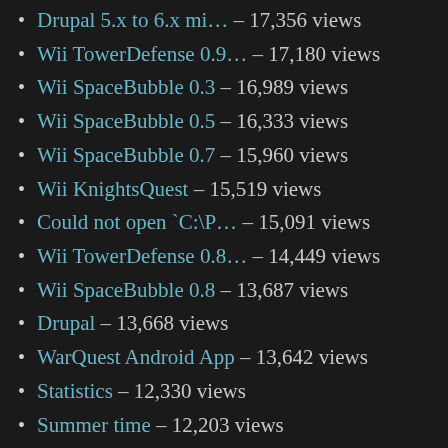Drupal 5.x to 6.x mi… - 17,356 views
Wii TowerDefense 0.9… - 17,180 views
Wii SpaceBubble 0.3 - 16,989 views
Wii SpaceBubble 0.5 - 16,333 views
Wii SpaceBubble 0.7 - 15,960 views
Wii KnightsQuest - 15,519 views
Could not open `C:\P… - 15,091 views
Wii TowerDefense 0.8… - 14,449 views
Wii SpaceBubble 0.8 - 13,687 views
Drupal - 13,668 views
WarQuest Android App - 13,642 views
Statistics - 12,330 views
Summer time - 12,203 views
wiibrew.org down - 12,093 views
Change login profile - 11,739 views
Symbian WarQuest - 11,626 views